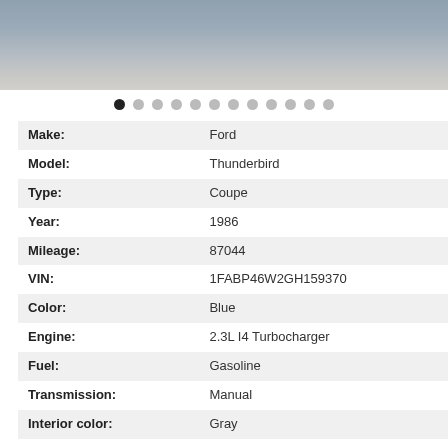[Figure (photo): Partial rear/side view of a blue Ford Thunderbird Coupe on a concrete floor in a garage or dealership setting.]
| Make: | Ford |
| Model: | Thunderbird |
| Type: | Coupe |
| Year: | 1986 |
| Mileage: | 87044 |
| VIN: | 1FABP46W2GH159370 |
| Color: | Blue |
| Engine: | 2.3L I4 Turbocharger |
| Fuel: | Gasoline |
| Transmission: | Manual |
| Interior color: | Gray |
| Vehicle Title: | Clean |